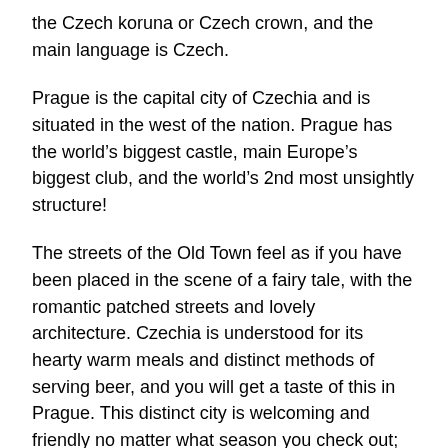the Czech koruna or Czech crown, and the main language is Czech.
Prague is the capital city of Czechia and is situated in the west of the nation. Prague has the world’s biggest castle, main Europe’s biggest club, and the world’s 2nd most unsightly structure!
The streets of the Old Town feel as if you have been placed in the scene of a fairy tale, with the romantic patched streets and lovely architecture. Czechia is understood for its hearty warm meals and distinct methods of serving beer, and you will get a taste of this in Prague. This distinct city is welcoming and friendly no matter what season you check out; you will discover a lot and bring in individuals from throughout the world.